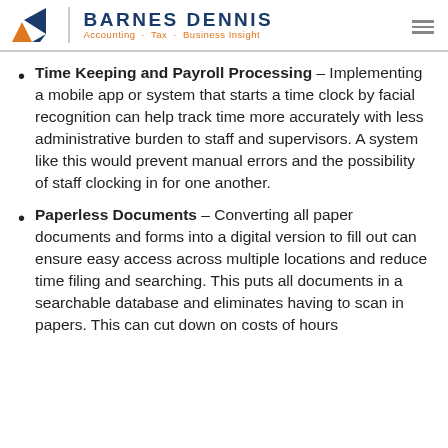BARNES DENNIS — Accounting · Tax · Business Insight
Time Keeping and Payroll Processing – Implementing a mobile app or system that starts a time clock by facial recognition can help track time more accurately with less administrative burden to staff and supervisors. A system like this would prevent manual errors and the possibility of staff clocking in for one another.
Paperless Documents – Converting all paper documents and forms into a digital version to fill out can ensure easy access across multiple locations and reduce time filing and searching. This puts all documents in a searchable database and eliminates having to scan in papers. This can cut down on costs of hours